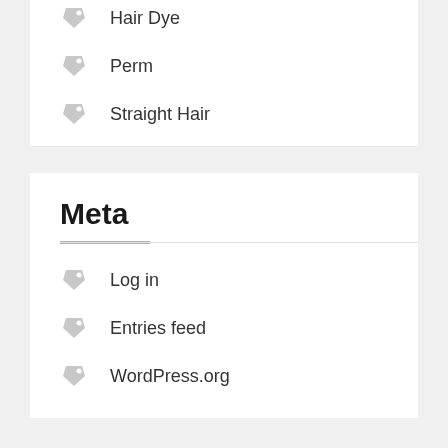Hair Dye
Perm
Straight Hair
Meta
Log in
Entries feed
WordPress.org